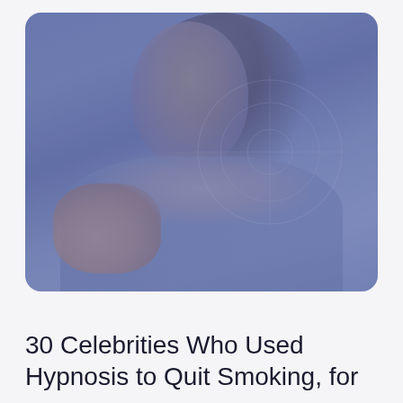[Figure (photo): A smiling woman with long dark hair, wearing a floral scarf and blue/grey jacket, holding flowers. The photo has a blue-purple tinted overlay with a faint crosshair/target circle graphic in the background on the right side.]
30 Celebrities Who Used Hypnosis to Quit Smoking, for